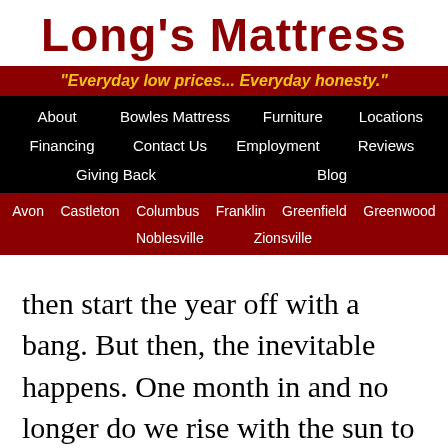Long's Mattress
"Everyday low prices... Everyday honesty."
About  Bowles Mattress  Furniture  Locations  Financing  Contact Us  Employment  Reviews  Giving Back  Blog
Avon  Castleton  Columbus  Franklin  Greenfield  Greenwood  Noblesville  Zionsville
then start the year off with a bang. But then, the inevitable happens. One month in and no longer do we rise with the sun to get in a morning workout. Our fridges are once more stocked with delicious pints of ice cream. And